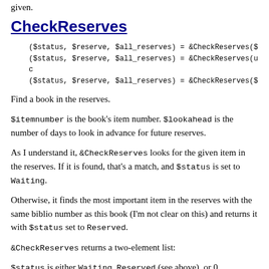given.
CheckReserves
($status, $reserve, $all_reserves) = &CheckReserves($it
($status, $reserve, $all_reserves) = &CheckReserves(und
($status, $reserve, $all_reserves) = &CheckReserves($it
Find a book in the reserves.
$itemnumber is the book's item number. $lookahead is the number of days to look in advance for future reserves.
As I understand it, &CheckReserves looks for the given item in the reserves. If it is found, that's a match, and $status is set to Waiting.
Otherwise, it finds the most important item in the reserves with the same biblio number as this book (I'm not clear on this) and returns it with $status set to Reserved.
&CheckReserves returns a two-element list:
$status is either Waiting, Reserved (see above), or 0.
$reserve is the reserve item that matched. It is a reference-to-hash